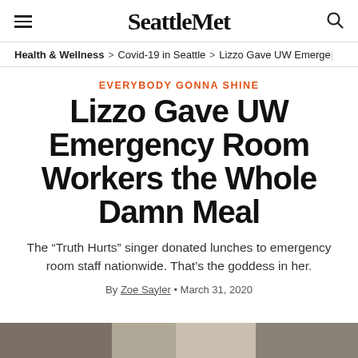Seattle Met
Health & Wellness > Covid-19 in Seattle > Lizzo Gave UW Emerge
EVERYBODY GONNA SHINE
Lizzo Gave UW Emergency Room Workers the Whole Damn Meal
The “Truth Hurts” singer donated lunches to emergency room staff nationwide. That’s the goddess in her.
By Zoe Sayler • March 31, 2020
[Figure (photo): Partial photo strip at bottom of page, showing a blurred image]